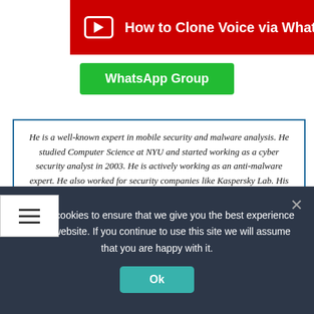[Figure (screenshot): YouTube banner with red background showing 'How to Clone Voice via WhatsApp Voice Message']
[Figure (screenshot): Green WhatsApp Group button]
He is a well-known expert in mobile security and malware analysis. He studied Computer Science at NYU and started working as a cyber security analyst in 2003. He is actively working as an anti-malware expert. He also worked for security companies like Kaspersky Lab. His everyday job includes researching about new malware and cyber security incidents. Also he has deep level of knowledge in mobile security and mobile vulnerabilities.
[Figure (logo): Twitter bird icon in a blue circle]
Share this...
[Figure (screenshot): Row of social sharing icons (green, blue, light blue, dark blue, pink/red, red)]
We use cookies to ensure that we give you the best experience on our website. If you continue to use this site we will assume that you are happy with it.